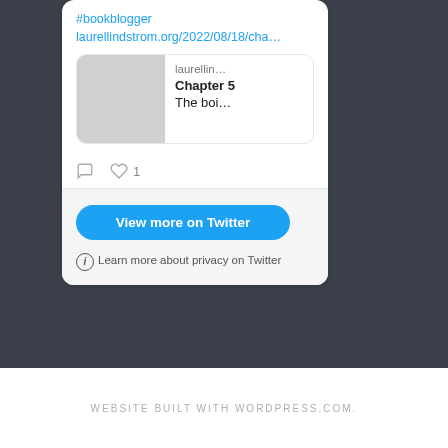[Figure (screenshot): Twitter embedded widget showing a tweet with #bookblogger hashtag and a link to laurellindstrom.org. Contains a link preview card showing 'laurellin...' domain, 'Chapter 5' title, 'The boi...' subtitle. Action buttons show comment and 1 like icons. A 'View more on Twitter' button and a privacy notice are shown below.]
WEBSITE BUILT WITH WORDPRESS.COM.